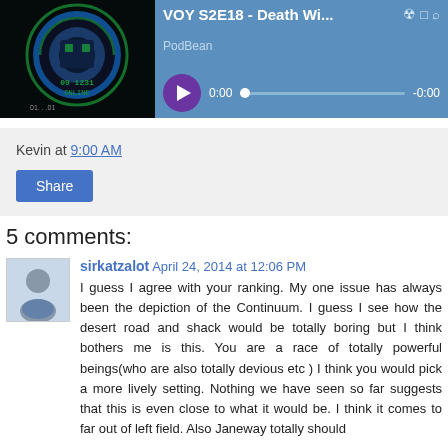[Figure (screenshot): Podcast player bar showing album art with circular logo (09 1231 ONLINE), purple play button, title 'VOY S2E18 - Death Wi...', timestamp 0:00 / -0:00, progress bar, PodBean label, and media control icons]
Kevin at 9:00 AM
Share
5 comments:
[Figure (photo): Avatar photo of sirkatzalot - person wearing blue shirt, light background]
sirkatzalot April 24, 2014 at 12:06 PM
I guess I agree with your ranking. My one issue has always been the depiction of the Continuum. I guess I see how the desert road and shack would be totally boring but I think bothers me is this. You are a race of totally powerful beings(who are also totally devious etc ) I think you would pick a more lively setting. Nothing we have seen so far suggests that this is even close to what it would be. I think it comes to far out of left field. Also Janeway totally should